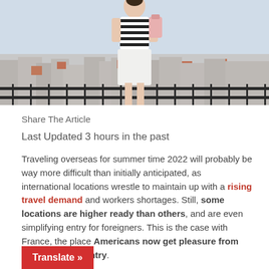[Figure (photo): Woman in striped shirt and white skirt with a pink backpack standing on a balcony overlooking Parisian rooftops]
Share The Article
Last Updated 3 hours in the past
Traveling overseas for summer time 2022 will probably be way more difficult than initially anticipated, as international locations wrestle to maintain up with a rising travel demand and workers shortages. Still, some locations are higher ready than others, and are even simplifying entry for foreigners. This is the case with France, the place Americans now get pleasure from quick observe entry.
Translate »